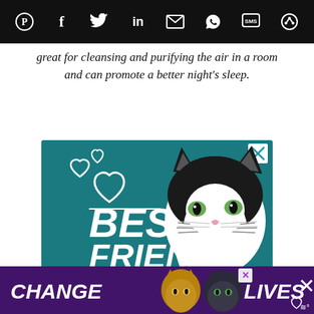[Social share icons: Pinterest, Facebook, Twitter, LinkedIn, Email, WhatsApp, SMS, Share]
great for cleansing and purifying the air in a room and can promote a better night's sleep.
[Figure (illustration): Advertisement banner with teal background showing a black and white cat face, heart outlines, and bold white text reading BEST FRIENDS FOREVER with a close X button in corner]
[Figure (illustration): Bottom advertisement bar with purple background showing two cats and bold white text reading CHANGE LIVES with a close X button]